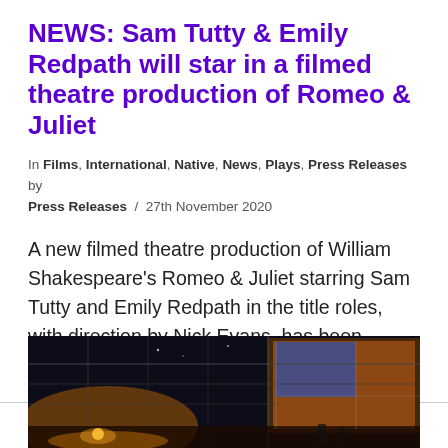NEWS: Sam Tutty & Emily Redpath will star in a filmed theatre production of Romeo & Juliet
In Films, International, Native, News, Plays, Press Releases by Press Releases / 27th November 2020
A new filmed theatre production of William Shakespeare's Romeo & Juliet starring Sam Tutty and Emily Redpath in the title roles, with direction by Nick Evans, has been announced.
[Figure (photo): A dark stage photograph showing scaffolding and theatrical lighting with a large illuminated structure on the right side, taken at night or in a dark venue with orange and blue light]